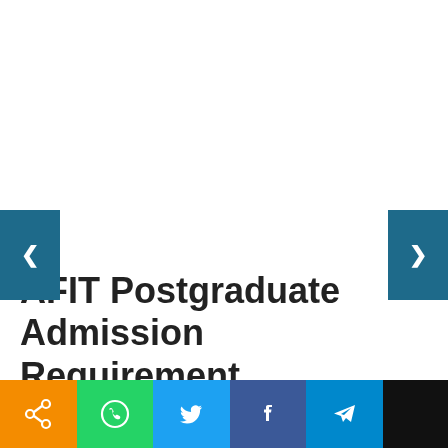AFIT Postgraduate Admission Requirement
Below are the requirements of Air Force Institute of Technology (AFIT), Kaduna for admission considerations into the postgraduate higher…